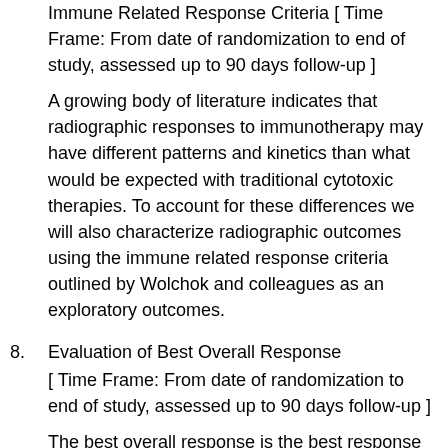Immune Related Response Criteria [ Time Frame: From date of randomization to end of study, assessed up to 90 days follow-up ]
A growing body of literature indicates that radiographic responses to immunotherapy may have different patterns and kinetics than what would be expected with traditional cytotoxic therapies. To account for these differences we will also characterize radiographic outcomes using the immune related response criteria outlined by Wolchok and colleagues as an exploratory outcomes.
8. Evaluation of Best Overall Response [ Time Frame: From date of randomization to end of study, assessed up to 90 days follow-up ]
The best overall response is the best response recorded from the start of the treatment until disease progression/recurrence (taking as reference for PD the smallest measurements recorded since the treatment